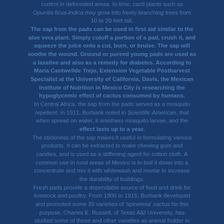control in deforested areas. In time, cacti plants such as Opuntia ficus-indica may grow into freely-branching trees from 10 to 20 feet tall. The sap from the pads can be used in first aid similar to the aloe vera plant. Simply cutoff a portion of a pad, crush it, and squeeze the juice onto a cut, burn, or bruise. The sap will soothe the wound. Ground or pureed young pads are used as a laxative and also as a remedy for diabetes. According to Maria Cantwellde Trejo, Extension Vegetable Postharvest Specialist at the University of California, Davis, the Mexican Institute of Nutrition in Mexico City is researching the hypoglycemic effect of cactus consumed by humans. In Central Africa, the sap from the pads served as a mosquito repellent; in 1911, Burbank noted in Scientific American, that when spread on water, it smothers mosquito larvae, and the effect lasts up to a year. The stickiness of the sap makes it useful in formulating various products. It can be extracted to make chewing gum and candies, and is used as a stiffening agent for cotton cloth. A common use in rural areas of Mexico is to boil it down into a concentrate and mix it with whitewash and mortar to increase the durability of buildings. Fresh pads provide a dependable source of food and drink for livestock and poultry. From 1906 to 1915, Burbank developed and promoted some 35 varieties of 'spineless' cactus for this purpose. Charles E. Russell, of Texas A&I University, has studied some of these and other varieties as animal fodder in arid regions of Texas, Mexico, and Chile. Russell points out